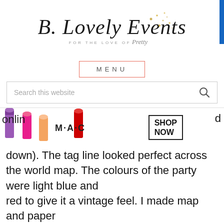[Figure (logo): B. Lovely Events logo with cursive script text and gold sparkle/glitter decoration. Subtitle reads FOR THE LOVE OF Pretty]
MENU
Search this website
[Figure (photo): MAC cosmetics advertisement banner showing colorful lipsticks (purple, pink, coral, red) with MAC logo and SHOP NOW button]
online... down). The tag line looked perfect across the world map. The colours of the party were light blue and red to give it a vintage feel. I made map and paper
This website uses cookies to improve your experience. We'll assume you're ok with this, but you [CLOSE] t-out if
[Figure (photo): MAC cosmetics advertisement banner showing colorful lipsticks (purple, pink, coral, red) with MAC logo and SHOP NOW button]